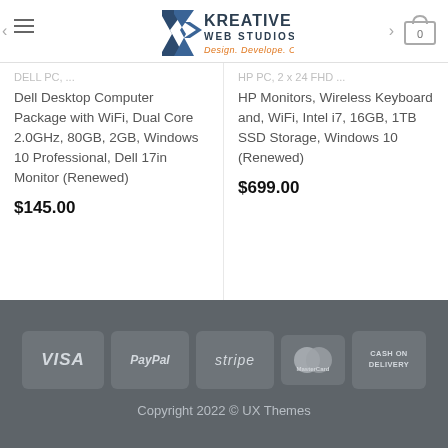Kreative Web Studios - Design. Develope. Create.
Dell Desktop Computer Package with WiFi, Dual Core 2.0GHz, 80GB, 2GB, Windows 10 Professional, Dell 17in Monitor (Renewed)
$145.00
HP Monitors, Wireless Keyboard and, WiFi, Intel i7, 16GB, 1TB SSD Storage, Windows 10 (Renewed)
$699.00
VISA | PayPal | stripe | MasterCard | CASH ON DELIVERY
Copyright 2022 © UX Themes